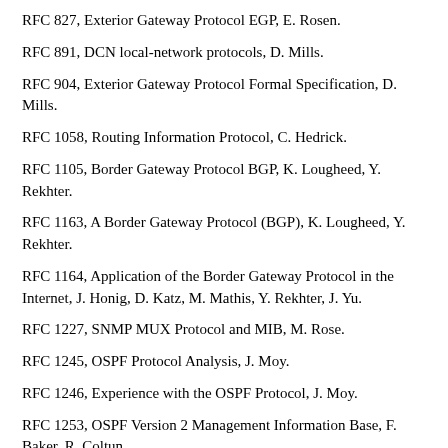RFC 827, Exterior Gateway Protocol EGP, E. Rosen.
RFC 891, DCN local-network protocols, D. Mills.
RFC 904, Exterior Gateway Protocol Formal Specification, D. Mills.
RFC 1058, Routing Information Protocol, C. Hedrick.
RFC 1105, Border Gateway Protocol BGP, K. Lougheed, Y. Rekhter.
RFC 1163, A Border Gateway Protocol (BGP), K. Lougheed, Y. Rekhter.
RFC 1164, Application of the Border Gateway Protocol in the Internet, J. Honig, D. Katz, M. Mathis, Y. Rekhter, J. Yu.
RFC 1227, SNMP MUX Protocol and MIB, M. Rose.
RFC 1245, OSPF Protocol Analysis, J. Moy.
RFC 1246, Experience with the OSPF Protocol, J. Moy.
RFC 1253, OSPF Version 2 Management Information Base, F. Baker, R. Coltun.